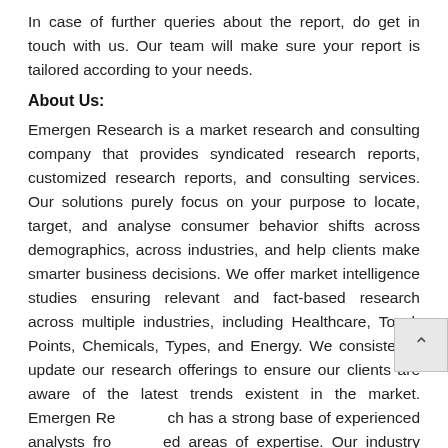In case of further queries about the report, do get in touch with us. Our team will make sure your report is tailored according to your needs.
About Us:
Emergen Research is a market research and consulting company that provides syndicated research reports, customized research reports, and consulting services. Our solutions purely focus on your purpose to locate, target, and analyse consumer behavior shifts across demographics, across industries, and help clients make smarter business decisions. We offer market intelligence studies ensuring relevant and fact-based research across multiple industries, including Healthcare, Touch Points, Chemicals, Types, and Energy. We consistently update our research offerings to ensure our clients are aware of the latest trends existent in the market. Emergen Research has a strong base of experienced analysts from varied areas of expertise. Our industry experience and ability to